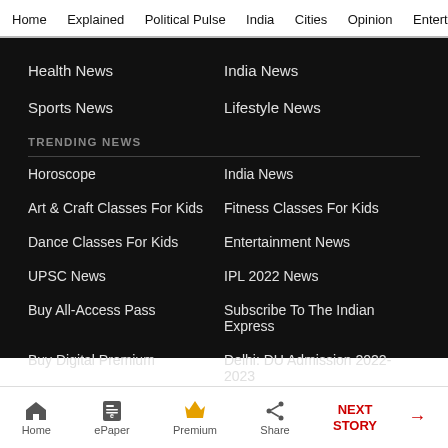Home   Explained   Political Pulse   India   Cities   Opinion   Entertainment
Health News
India News
Sports News
Lifestyle News
TRENDING NEWS
Horoscope
India News
Art & Craft Classes For Kids
Fitness Classes For Kids
Dance Classes For Kids
Entertainment News
UPSC News
IPL 2022 News
Buy All-Access Pass
Subscribe To The Indian Express
Buy Digital Premium
Delhi: DU Admission 2022-2023
Home   ePaper   Premium   Share   NEXT STORY